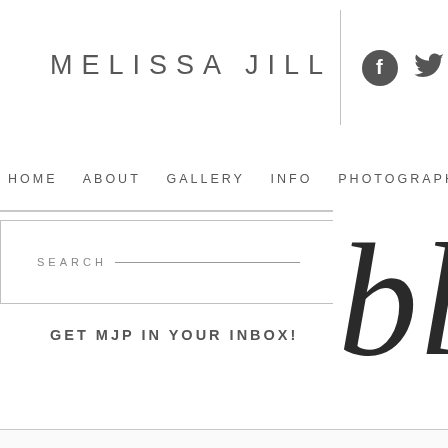MELISSA JILL
[Figure (logo): Facebook circular icon (dark grey)]
[Figure (logo): Twitter bird icon (dark grey)]
HOME  ABOUT  GALLERY  INFO  PHOTOGRAPHERS  C
SEARCH
GET MJP IN YOUR INBOX!
[Figure (illustration): Cursive script letter 'bl' in large dark serif/script font, partially cropped at right edge]